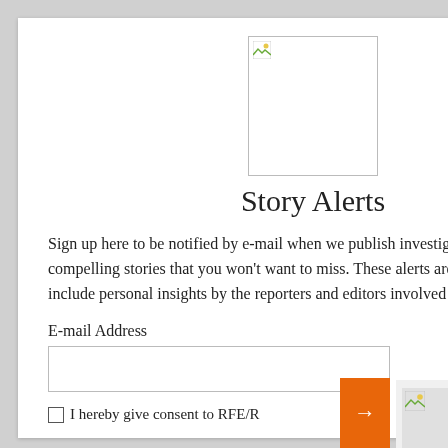[Figure (logo): Broken image placeholder box with small icon in top-left corner]
Story Alerts
Sign up here to be notified by e-mail when we publish investigations and compelling stories that you won't want to miss. These alerts are infrequent and include personal insights by the reporters and editors involved
E-mail Address
I hereby give consent to RFE/R